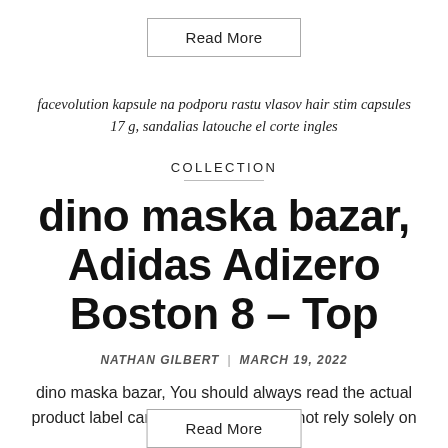Read More
facevolution kapsule na podporu rastu vlasov hair stim capsules 17 g, sandalias latouche el corte ingles
COLLECTION
dino maska bazar, Adidas Adizero Boston 8 – Top
NATHAN GILBERT | MARCH 19, 2022
dino maska bazar, You should always read the actual product label carefully and please do not rely solely on the...
Read More